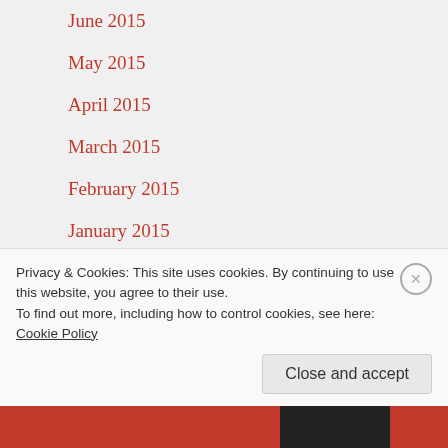June 2015
May 2015
April 2015
March 2015
February 2015
January 2015
December 2014
Top Posts & Pages
Privacy & Cookies: This site uses cookies. By continuing to use this website, you agree to their use.
To find out more, including how to control cookies, see here: Cookie Policy
Close and accept